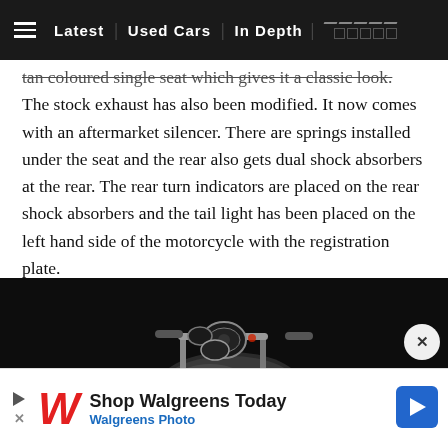≡  Latest | Used Cars | In Depth
tan coloured single seat which gives it a classic look. The stock exhaust has also been modified. It now comes with an aftermarket silencer. There are springs installed under the seat and the rear also gets dual shock absorbers at the rear. The rear turn indicators are placed on the rear shock absorbers and the tail light has been placed on the left hand side of the motorcycle with the registration plate.
[Figure (photo): A motorcycle shot against a black background, showing the handlebar area and fuel tank in a dim studio lighting setup.]
[Figure (other): Advertisement banner: Shop Walgreens Today - Walgreens Photo, with Walgreens logo and a blue direction arrow icon.]